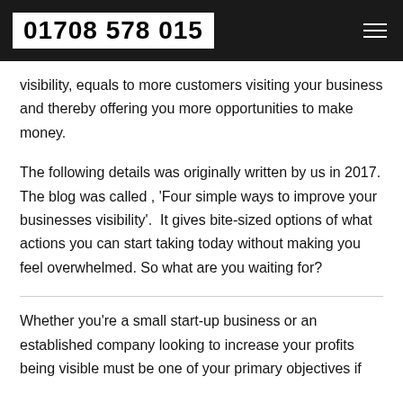01708 578 015
visibility, equals to more customers visiting your business and thereby offering you more opportunities to make money.
The following details was originally written by us in 2017. The blog was called , 'Four simple ways to improve your businesses visibility'.  It gives bite-sized options of what actions you can start taking today without making you feel overwhelmed. So what are you waiting for?
Whether you're a small start-up business or an established company looking to increase your profits being visible must be one of your primary objectives if